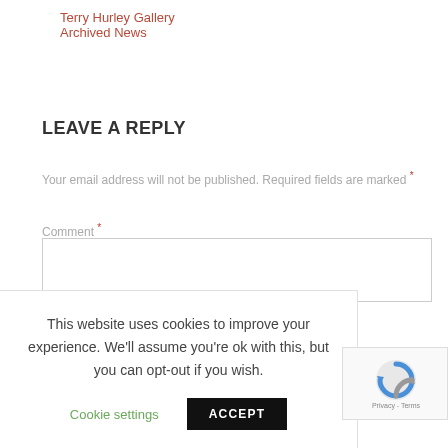Terry Hurley Gallery
Archived News
LEAVE A REPLY
Your email address will not be published. Required fields are marked *
Comment *
This website uses cookies to improve your experience. We'll assume you're ok with this, but you can opt-out if you wish.
Cookie settings | ACCEPT